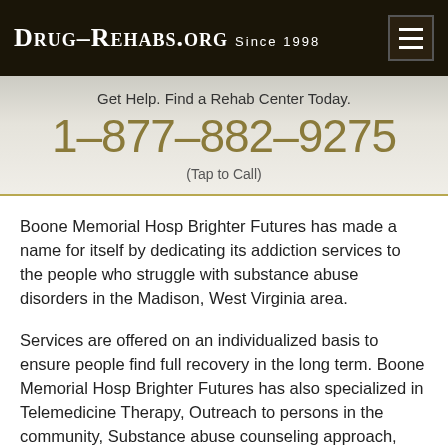Drug-Rehabs.org Since 1998
Get Help. Find a Rehab Center Today.
1-877-882-9275
(Tap to Call)
Boone Memorial Hosp Brighter Futures has made a name for itself by dedicating its addiction services to the people who struggle with substance abuse disorders in the Madison, West Virginia area.
Services are offered on an individualized basis to ensure people find full recovery in the long term. Boone Memorial Hosp Brighter Futures has also specialized in Telemedicine Therapy, Outreach to persons in the community, Substance abuse counseling approach, and others - as well as other treatment modalities such as Persons With Co-Occurring Mental And Substance Abuse Disorders